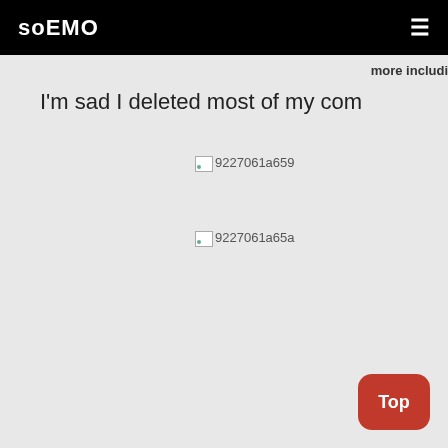soEMO
more includi
I'm sad I deleted most of my com
[Figure (photo): Broken image placeholder with filename 9227061a659]
[Figure (photo): Broken image placeholder with filename 9227061a65a]
Top